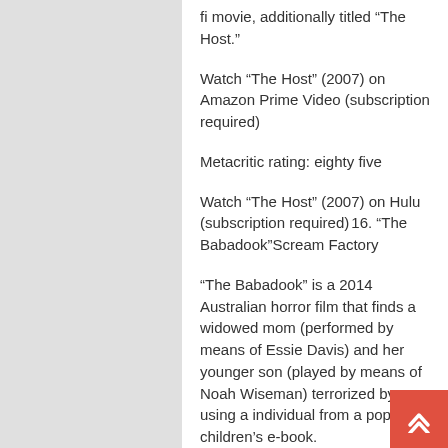fi movie, additionally titled “The Host.”
Watch “The Host” (2007) on Amazon Prime Video (subscription required)
Metacritic rating: eighty five
Watch “The Host” (2007) on Hulu (subscription required) 16. “The Babadook”Scream Factory
“The Babadook” is a 2014 Australian horror film that finds a widowed mom (performed by means of Essie Davis) and her younger son (played by means of Noah Wiseman) terrorized by using a individual from a pop-up children’s e-book.
The Portland Oregonian’s Marc Mohan known as the film a “close to-